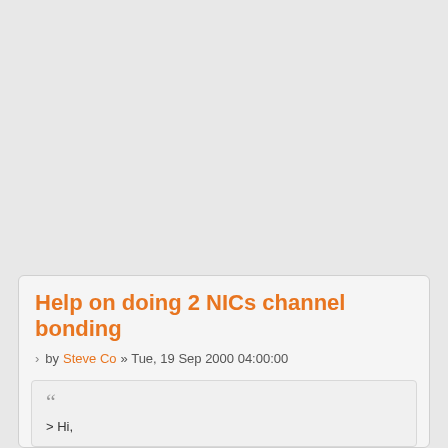Help on doing 2 NICs channel bonding
by Steve Co » Tue, 19 Sep 2000 04:00:00
> Hi,